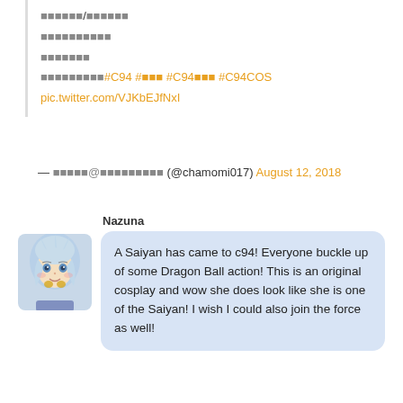ドラゴンボール/超サイヤ人
お客様お疲れ様
ありがとう
コスプレイヤー#C94 #ドラゴンボール #C94コスプレ #C94COS
pic.twitter.com/VJKbEJfNxI
— カモミール@コスプレイヤーさん (@chamomi017) August 12, 2018
[Figure (illustration): Anime-style avatar of a female character with light blue/white hair and golden accessories]
Nazuna
A Saiyan has came to c94! Everyone buckle up of some Dragon Ball action! This is an original cosplay and wow she does look like she is one of the Saiyan! I wish I could also join the force as well!